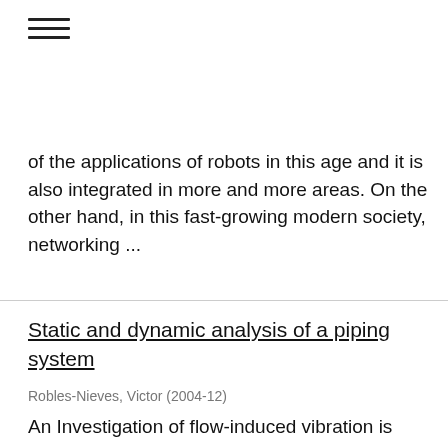[Figure (other): Hamburger menu icon with three horizontal lines]
of the applications of robots in this age and it is also integrated in more and more areas. On the other hand, in this fast-growing modern society, networking ...
Static and dynamic analysis of a piping system
Robles-Nieves, Victor (2004-12)
An Investigation of flow-induced vibration is presented in this thesis. Three finite elements models for the pipe system were developed: a structural finite element analysis